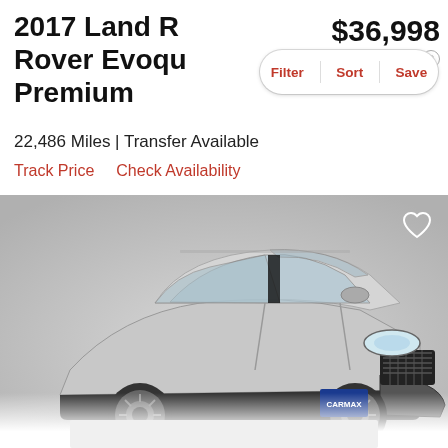2017 Land Rover Evoque Premium
$36,998
est. $533/mo
Filter | Sort | Save
22,486 Miles | Transfer Available
Track Price    Check Availability
[Figure (photo): Silver 2017 Land Rover Range Rover Evoque SUV photographed from front-left angle against a grey studio background. A Carmax dealer plate is visible on the front bumper.]